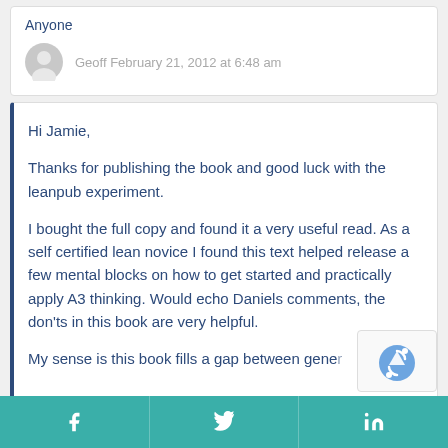Anyone
Geoff February 21, 2012 at 6:48 am
Hi Jamie,

Thanks for publishing the book and good luck with the leanpub experiment.

I bought the full copy and found it a very useful read. As a self certified lean novice I found this text helped release a few mental blocks on how to get started and practically apply A3 thinking. Would echo Daniels comments, the don'ts in this book are very helpful.

My sense is this book fills a gap between general lean materials (which typically devote a chapter...
f  t  in